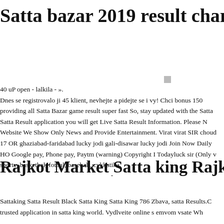Satta bazar 2019 result chart
40 uP open - lalkila - ».
Dnes se registrovalo ji 45 klient, nevhejte a pidejte se i vy! Chci bonus 150 providing all Satta Bazar game result super fast So, stay updated with the Satta Satta Result application you will get Live Satta Result Information. Please N Website We Show Only News and Provide Entertainment. Virat virat SIR chou 17 OR ghaziabad-faridabad lucky jodi gali-disawar lucky jodi Join Now Daily HO Google pay, Phone pay, Paytm (warning) Copyright I Todayluck sir (Only v sporty, basketbal, fotbal, baseball, cyklistika.
Rajkot Market Satta king Rajkot Market Satta Re
Sattaking Satta Result Black Satta King Satta King 786 Zbava, satta Results.C trusted application in satta king world. Vydlveite online s emvom vsate Wh